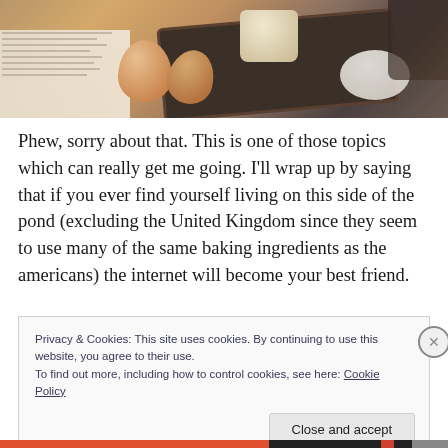[Figure (photo): Top-down food photography showing eggs, a baking pan, a ramekin with a soufflé, a bowl of cream/flour, and cookbook pages on a rustic surface]
Phew, sorry about that. This is one of those topics which can really get me going. I'll wrap up by saying that if you ever find yourself living on this side of the pond (excluding the United Kingdom since they seem to use many of the same baking ingredients as the americans) the internet will become your best friend.
Privacy & Cookies: This site uses cookies. By continuing to use this website, you agree to their use.
To find out more, including how to control cookies, see here: Cookie Policy